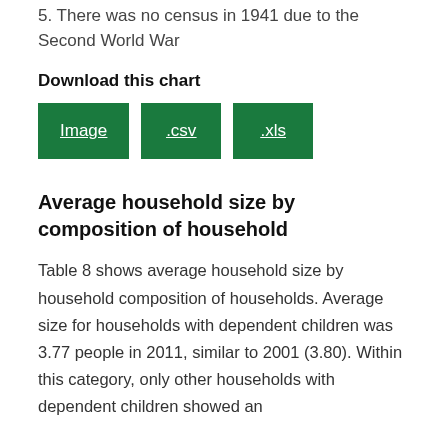5. There was no census in 1941 due to the Second World War
Download this chart
[Figure (other): Three green download buttons labeled Image, .csv, and .xls]
Average household size by composition of household
Table 8 shows average household size by household composition of households. Average size for households with dependent children was 3.77 people in 2011, similar to 2001 (3.80). Within this category, only other households with dependent children showed an